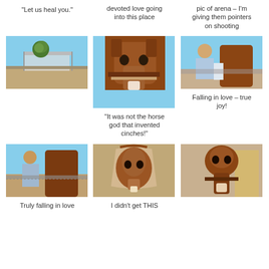“Let us heal you.”
Years of peoples devoted love going into this place
Horses also took this pic of arena – I’m giving them pointers on shooting
[Figure (photo): Outdoor arena with tree and shade structure, blue sky]
[Figure (photo): Close-up of chestnut horse with bridle facing camera]
[Figure (photo): Woman in blue jacket and cap standing next to horse at fence]
Falling in love – true joy!
“It was not the horse god that invented cinches!”
[Figure (photo): Woman with blue cap next to chestnut horse at fence]
[Figure (photo): Horse in barn with arched window]
[Figure (photo): Close-up of chestnut horse with bridle in stable]
Truly falling in love
I didn’t get THIS